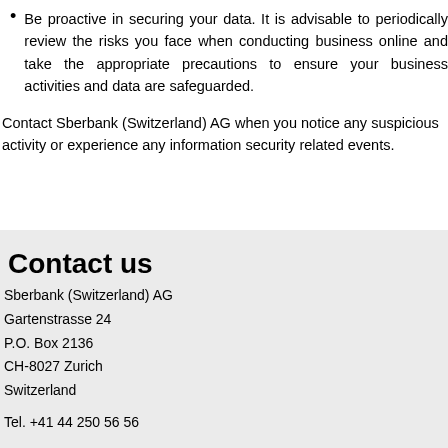Be proactive in securing your data. It is advisable to periodically review the risks you face when conducting business online and take the appropriate precautions to ensure your business activities and data are safeguarded.
Contact Sberbank (Switzerland) AG when you notice any suspicious activity or experience any information security related events.
Contact us
Sberbank (Switzerland) AG
Gartenstrasse 24
P.O. Box 2136
CH-8027 Zurich
Switzerland
Tel. +41 44 250 56 56